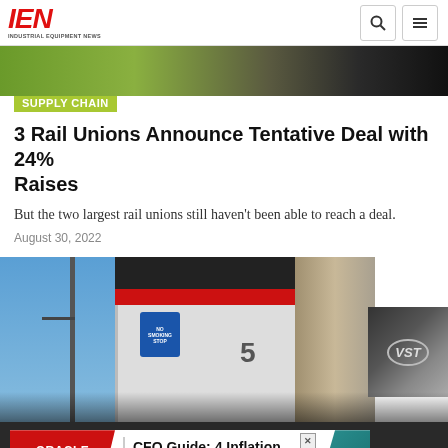IEN - INDUSTRIAL EQUIPMENT NEWS
[Figure (photo): Top portion of article hero image showing green foliage and dark background]
SUPPLY CHAIN
3 Rail Unions Announce Tentative Deal with 24% Raises
But the two largest rail unions still haven't been able to reach a deal.
August 30, 2022
[Figure (photo): Close-up photograph of a train locomotive with blue sky, signage and a VST logo visible on the side]
[Figure (other): Oracle NetSuite advertisement banner: CFO Guide: 4 Inflation Metrics to Watch Now]